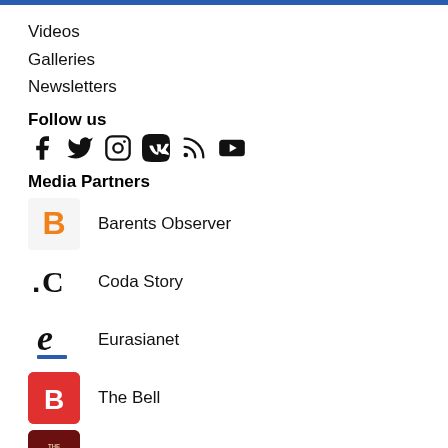Videos
Galleries
Newsletters
Follow us
[Figure (infographic): Social media icons: Facebook, Twitter, Instagram, VK, RSS, YouTube]
Media Partners
Barents Observer
Coda Story
Eurasianet
The Bell
The Eurasian Climate Brief
Carnegie Endowment